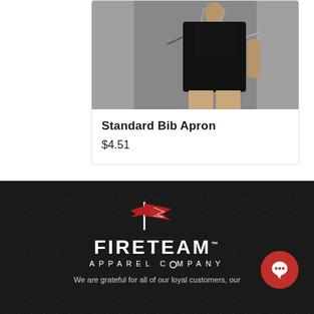[Figure (photo): Product photo of a person wearing a black Standard Bib Apron against a grey background]
Standard Bib Apron
$4.51
[Figure (logo): Fireteam Apparel Company logo — red wing/flag icon above white distressed text reading FIRETEAM APPAREL COMPANY on a dark background]
We are grateful for all of our loyal customers, our